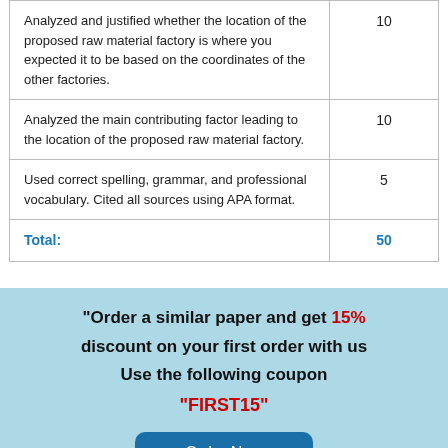| Criteria | Points |
| --- | --- |
| Analyzed and justified whether the location of the proposed raw material factory is where you expected it to be based on the coordinates of the other factories. | 10 |
| Analyzed the main contributing factor leading to the location of the proposed raw material factory. | 10 |
| Used correct spelling, grammar, and professional vocabulary. Cited all sources using APA format. | 5 |
| Total: | 50 |
"Order a similar paper and get 15% discount on your first order with us Use the following coupon "FIRST15"